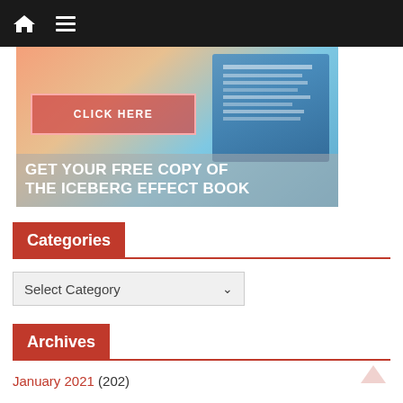Navigation bar with home and menu icons
[Figure (photo): Banner image for 'Get Your Free Copy of The Iceberg Effect Book' with a CLICK HERE button overlay and a book image on a colorful background]
Categories
Select Category (dropdown)
Archives
January 2021 (202)